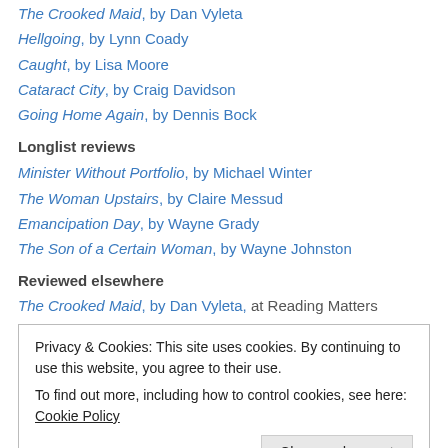The Crooked Maid, by Dan Vyleta
Hellgoing, by Lynn Coady
Caught, by Lisa Moore
Cataract City, by Craig Davidson
Going Home Again, by Dennis Bock
Longlist reviews
Minister Without Portfolio, by Michael Winter
The Woman Upstairs, by Claire Messud
Emancipation Day, by Wayne Grady
The Son of a Certain Woman, by Wayne Johnston
Reviewed elsewhere
The Crooked Maid, by Dan Vyleta, at Reading Matters
Privacy & Cookies: This site uses cookies. By continuing to use this website, you agree to their use. To find out more, including how to control cookies, see here: Cookie Policy
October 1970, by Louis Hamelin, at Reading Matters